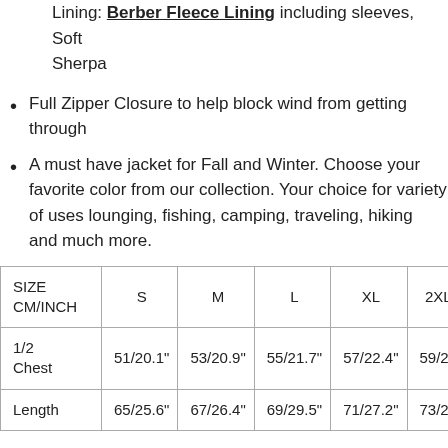Lining: Berber Fleece Lining including sleeves, Soft Sherpa
Full Zipper Closure to help block wind from getting through
A must have jacket for Fall and Winter. Choose your favorite color from our collection. Your choice for variety of uses lounging, fishing, camping, traveling, hiking and much more.
| SIZE CM/INCH | S | M | L | XL | 2XL |
| --- | --- | --- | --- | --- | --- |
| 1/2 Chest | 51/20.1" | 53/20.9" | 55/21.7" | 57/22.4" | 59/23… |
| Length | 65/25.6" | 67/26.4" | 69/29.5" | 71/27.2" | 73/28… |